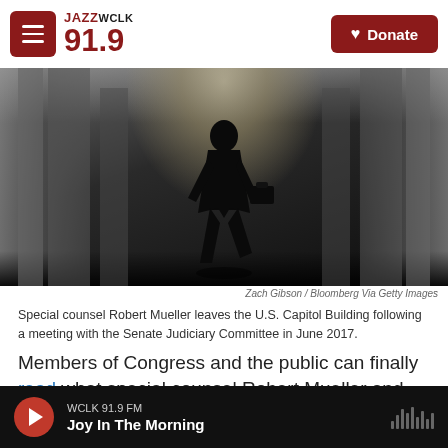JAZZ WCLK 91.9 | Donate
[Figure (photo): Silhouette of a person carrying a briefcase walking through a corridor, backlit by bright light at the end of the hallway.]
Zach Gibson / Bloomberg Via Getty Images
Special counsel Robert Mueller leaves the U.S. Capitol Building following a meeting with the Senate Judiciary Committee in June 2017.
Members of Congress and the public can finally read what special counsel Robert Mueller and his team of investigators found in their 22-month probe into Russia's interference in the 2016 presidential
WCLK 91.9 FM
Joy In The Morning